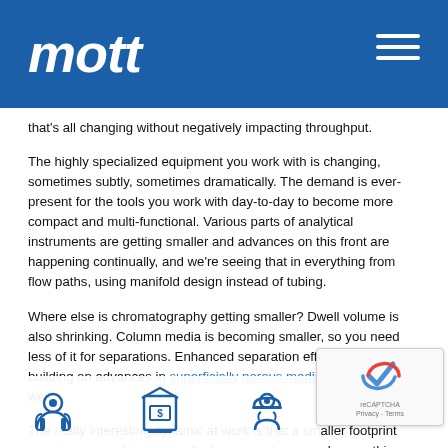mott
that's all changing without negatively impacting throughput.
The highly specialized equipment you work with is changing, sometimes subtly, sometimes dramatically. The demand is ever-present for the tools you work with day-to-day to become more compact and multi-functional. Various parts of analytical instruments are getting smaller and advances on this front are happening continually, and we're seeing that in everything from flow paths, using manifold design instead of tubing.
Where else is chromatography getting smaller? Dwell volume is also shrinking. Column media is becoming smaller, so you need less of it for separations. Enhanced separation efficiencies are building on advances in superficially porous media technology as well.
The really interesting dynamic at work is that a smaller footprint can also mean doing more. And you can do so much more this parallel processing. Take a look at how the ThermoDuo UHPLC system allows you to handle three separate workflows on one instrument. This kind of parallel processing allows for a go...